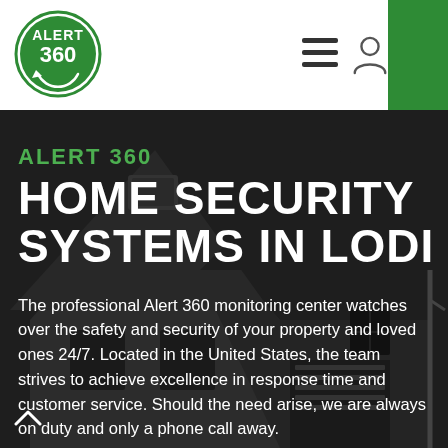[Figure (logo): Alert 360 circular logo — white circle with green border, text ALERT and 360 in white, small arrow arc below]
[Figure (illustration): Dark greyscale photo of a suburban house exterior with peaked roof, white trim, and garage door visible]
ALERT 360
HOME SECURITY SYSTEMS IN LODI
The professional Alert 360 monitoring center watches over the safety and security of your property and loved ones 24/7. Located in the United States, the team strives to achieve excellence in response time and customer service. Should the need arise, we are always on duty and only a phone call away.